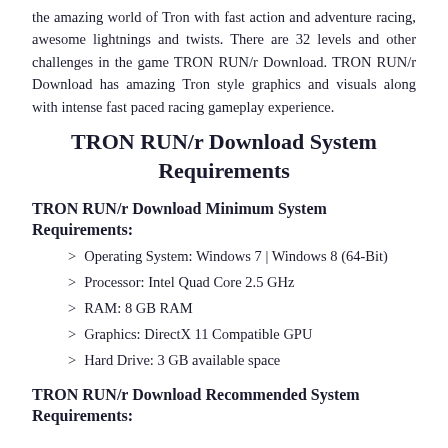the amazing world of Tron with fast action and adventure racing, awesome lightnings and twists. There are 32 levels and other challenges in the game TRON RUN/r Download. TRON RUN/r Download has amazing Tron style graphics and visuals along with intense fast paced racing gameplay experience.
TRON RUN/r Download System Requirements
TRON RUN/r Download Minimum System Requirements:
Operating System: Windows 7 | Windows 8 (64-Bit)
Processor: Intel Quad Core 2.5 GHz
RAM: 8 GB RAM
Graphics: DirectX 11 Compatible GPU
Hard Drive: 3 GB available space
TRON RUN/r Download Recommended System Requirements: